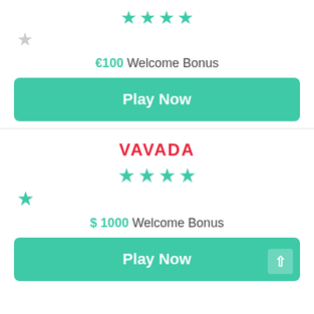[Figure (other): 4 filled teal stars and 1 empty grey star rating display]
€100 Welcome Bonus
Play Now
[Figure (logo): VAVADA logo in red bold uppercase letters]
[Figure (other): 4 filled teal stars and 1 filled teal star on second row rating display (4.5 or 5 stars)]
$ 1000 Welcome Bonus
Play Now